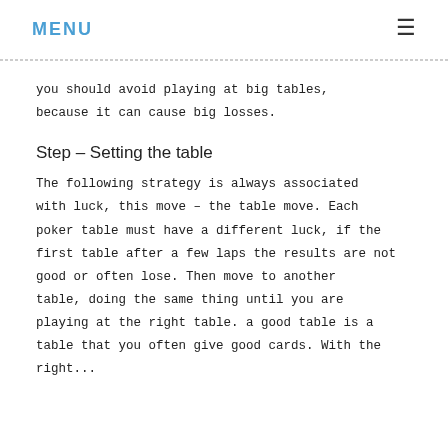MENU ≡
you should avoid playing at big tables, because it can cause big losses.
Step – Setting the table
The following strategy is always associated with luck, this move – the table move. Each poker table must have a different luck, if the first table after a few laps the results are not good or often lose. Then move to another table, doing the same thing until you are playing at the right table. a good table is a table that you often give good cards. With the right...